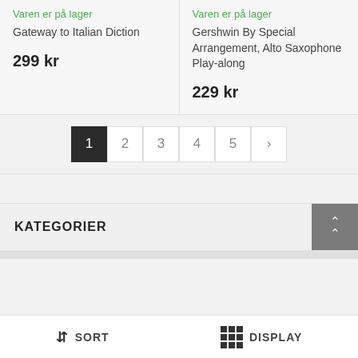Varen er på lager
Gateway to Italian Diction
299 kr
Varen er på lager
Gershwin By Special Arrangement, Alto Saxophone Play-along
229 kr
1
2
3
4
5
>
KATEGORIER
SORT
DISPLAY